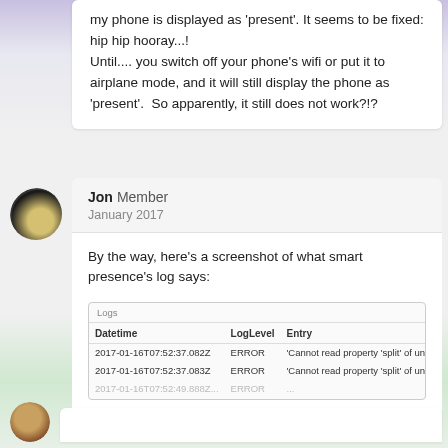my phone is displayed as 'present'. It seems to be fixed: hip hip hooray...!
Until.... you switch off your phone's wifi or put it to airplane mode, and it will still display the phone as 'present'.  So apparently, it still does not work?!?
Jon Member
January 2017
By the way, here's a screenshot of what smart presence's log says:
[Figure (screenshot): Log table screenshot showing Datetime, LogLevel, Entry columns with two ERROR rows: 2017-01-16T07:52:37.082Z ERROR 'Cannot read property split of undefined', 2017-01-16T07:52:37.083Z ERROR 'Cannot read property split of undefined', and a partially visible third row.]